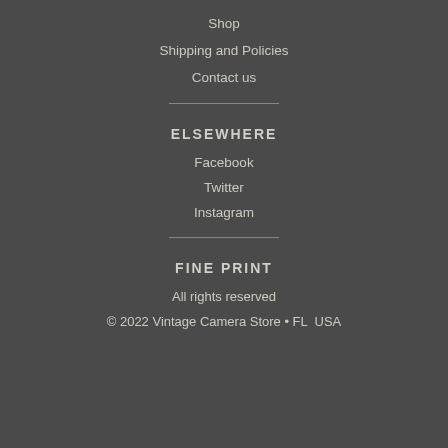Shop
Shipping and Policies
Contact us
ELSEWHERE
Facebook
Twitter
Instagram
FINE PRINT
All rights reserved
© 2022 Vintage Camera Store • FL  USA